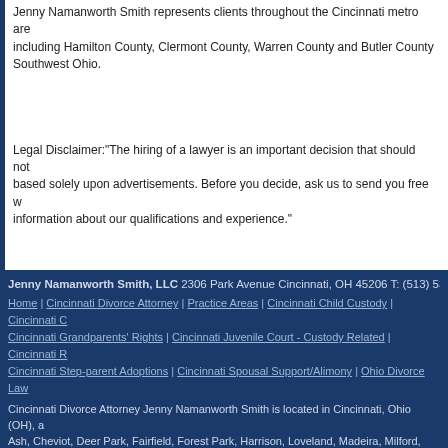Jenny Namanworth Smith represents clients throughout the Cincinnati metro area, including Hamilton County, Clermont County, Warren County and Butler County in Southwest Ohio.
Legal Disclaimer:"The hiring of a lawyer is an important decision that should not be based solely upon advertisements. Before you decide, ask us to send you free written information about our qualifications and experience."
Jenny Namanworth Smith, LLC 2306 Park Avenue Cincinnati, OH 45206 T: (513) 533-456...
Home | Cincinnati Divorce Attorney | Practice Areas | Cincinnati Child Custody | Cincinnati C... Cincinnati Grandparents' Rights | Cincinnati Juvenile Court - Custody Related | Cincinnati R... Cincinnati Step-parent Adoptions | Cincinnati Spousal Support/Alimony | Ohio Divorce Law...
Cincinnati Divorce Attorney Jenny Namanworth Smith is located in Cincinnati, Ohio (OH), a... Ash, Cheviot, Deer Park, Fairfield, Forest Park, Harrison, Loveland, Madeira, Milford, Montg... Sharonville, Silverton, Springdale, St. Bernard, Village of Indian Hill, Wyoming and the surro...
© 2010 by Jenny Namanworth Smith, LLC. All rights reserved.
Lawyer Websites | Law Firm SEO